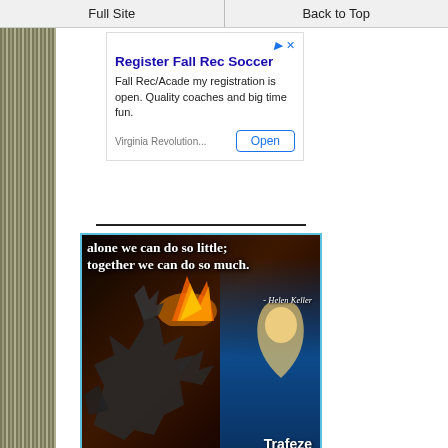Full Site | Back to Top
[Figure (infographic): Advertisement for Register Fall Rec Soccer - Virginia Revolution with Open button]
[Figure (photo): Motivational meme image with dragon and woman, text reading 'alone we can do so little; together we can do so much. -Helen Keller' with Trafeze watermark]